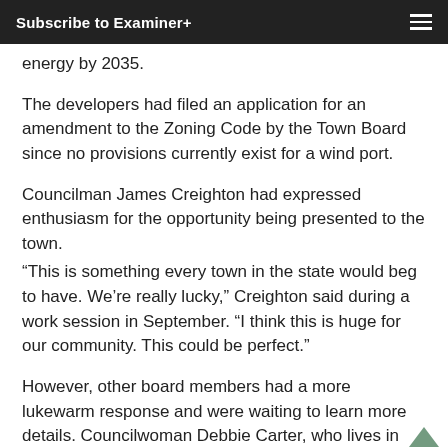Subscribe to Examiner+
energy by 2035.
The developers had filed an application for an amendment to the Zoning Code by the Town Board since no provisions currently exist for a wind port.
Councilman James Creighton had expressed enthusiasm for the opportunity being presented to the town.
“This is something every town in the state would beg to have. We’re really lucky,” Creighton said during a work session in September. “I think this is huge for our community. This could be perfect.”
However, other board members had a more lukewarm response and were waiting to learn more details. Councilwoman Debbie Carter, who lives in